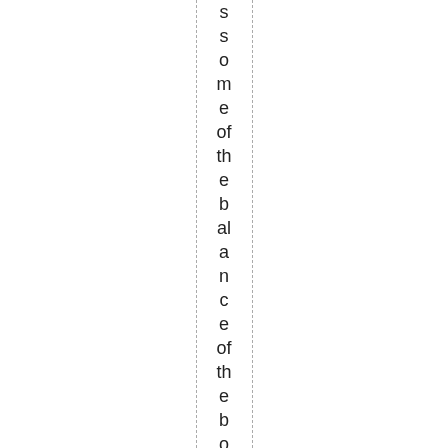s s o m e of th e b al a n c e of th e b o o k s e e m